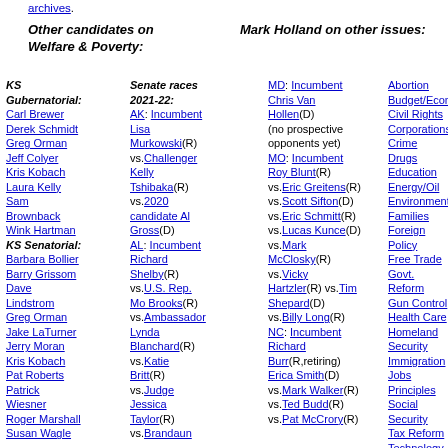archives.
Other candidates on Welfare & Poverty:
Mark Holland on other issues:
KS Gubernatorial: Carl Brewer, Derek Schmidt, Greg Orman, Jeff Colyer, Kris Kobach, Laura Kelly, Sam Brownback, Wink Hartman, KS Senatorial: Barbara Bollier, Barry Grissom, Dave Lindstrom, Greg Orman, Jake LaTurner, Jerry Moran, Kris Kobach, Pat Roberts, Patrick Wiesner, Roger Marshall, Susan Wagle
Senate races 2021-22: AK: Incumbent Lisa Murkowski(R) vs.Challenger Kelly Tshibaka(R) vs.2020 candidate Al Gross(D) AL: Incumbent Richard Shelby(R) vs.U.S. Rep. Mo Brooks(R) vs.Ambassador Lynda Blanchard(R) vs.Katie Britt(R) vs.Judge Jessica Taylor(R) vs.Brandaun
MD: Incumbent Chris Van Hollen(D) (no prospective opponents yet) MO: Incumbent Roy Blunt(R) vs.Eric Greitens(R) vs.Scott Sifton(D) vs.Eric Schmitt(R) vs.Lucas Kunce(D) vs.Mark McClosky(R) vs.Vicky Hartzler(R) vs.Tim Shepard(D) vs.Billy Long(R) NC: Incumbent Richard Burr(R,retiring) Erica Smith(D) vs.Mark Walker(R) vs.Ted Budd(R) vs.Pat McCrory(R)
Abortion
Budget/Economy
Civil Rights
Corporations
Crime
Drugs
Education
Energy/Oil
Environment
Families
Foreign Policy
Free Trade
Govt. Reform
Gun Control
Health Care
Homeland Security
Immigration
Jobs
Principles
Social Security
Tax Reform
Technology
War/Peace
Welfare